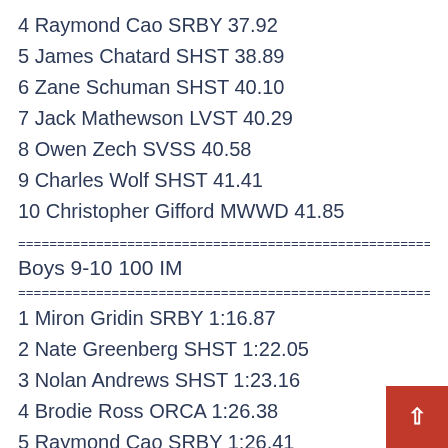4 Raymond Cao SRBY 37.92
5 James Chatard SHST 38.89
6 Zane Schuman SHST 40.10
7 Jack Mathewson LVST 40.29
8 Owen Zech SVSS 40.58
9 Charles Wolf SHST 41.41
10 Christopher Gifford MWWD 41.85
=======================================================
Boys 9-10 100 IM
=======================================================
1 Miron Gridin SRBY 1:16.87
2 Nate Greenberg SHST 1:22.05
3 Nolan Andrews SHST 1:23.16
4 Brodie Ross ORCA 1:26.38
5 Raymond Cao SRBY 1:26.41
6 Benjamin Lotosh NOV 1:26.82